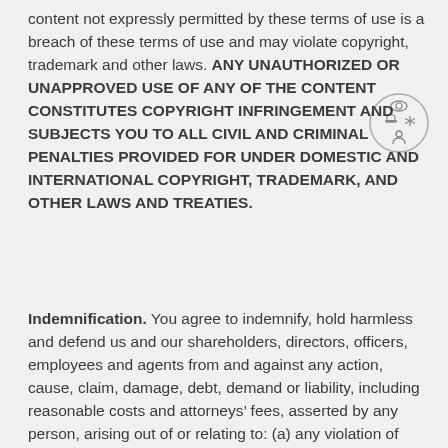content not expressly permitted by these terms of use is a breach of these terms of use and may violate copyright, trademark and other laws. ANY UNAUTHORIZED OR UNAPPROVED USE OF ANY OF THE CONTENT CONSTITUTES COPYRIGHT INFRINGEMENT AND SUBJECTS YOU TO ALL CIVIL AND CRIMINAL PENALTIES PROVIDED FOR UNDER DOMESTIC AND INTERNATIONAL COPYRIGHT, TRADEMARK, AND OTHER LAWS AND TREATIES.
[Figure (logo): Circular logo with icons including a camera/eye at top, a hat and snowflake/asterisk in the middle, and a figure/person at the bottom]
Indemnification. You agree to indemnify, hold harmless and defend us and our shareholders, directors, officers, employees and agents from and against any action, cause, claim, damage, debt, demand or liability, including reasonable costs and attorneys’ fees, asserted by any person, arising out of or relating to: (a) any violation of these terms of use; (b) any